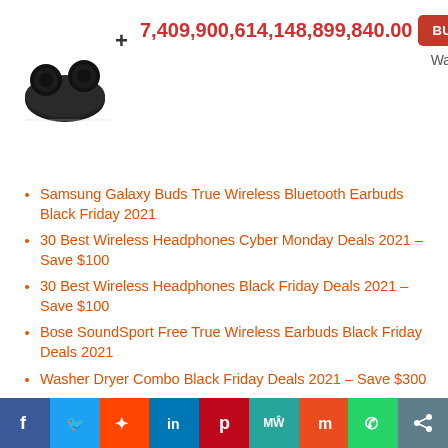[Figure (photo): Samsung Galaxy Buds product image - black wireless earbuds with charging case and a '+' symbol]
7,409,900,614,148,899,840.00
BUY NOW
Walmart.com
Samsung Galaxy Buds True Wireless Bluetooth Earbuds Black Friday 2021
30 Best Wireless Headphones Cyber Monday Deals 2021 – Save $100
30 Best Wireless Headphones Black Friday Deals 2021 – Save $100
Bose SoundSport Free True Wireless Earbuds Black Friday Deals 2021
Washer Dryer Combo Black Friday Deals 2021 – Save $300